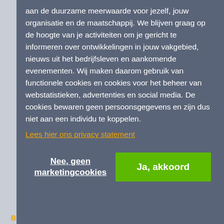aan de duurzame meerwaarde voor jezelf, jouw organisatie en de maatschappij. We blijven graag op de hoogte van je activiteiten om je gericht te informeren over ontwikkelingen in jouw vakgebied, nieuws uit het bedrijfsleven en aankomende evenementen. Wij maken daarom gebruik van functionele cookies en cookies voor het beheer van webstatistieken, advertenties en social media. De cookies bewaren geen persoonsgegevens en zijn dus niet aan een individu te koppelen.
Lees hier ons privacy statement
Nee, geen marketingcookies
Ja, akkoord
MBA
BA
MaatwerkinCompany
BEKIJK TOTAALAANBOD ›